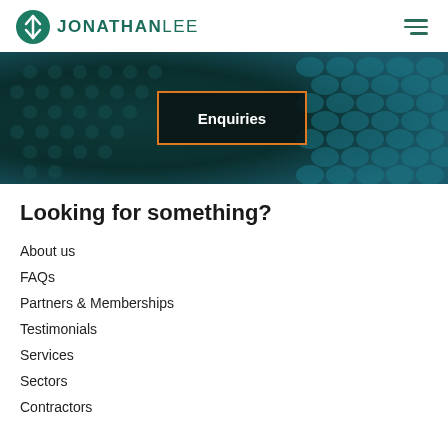JONATHAN LEE
[Figure (screenshot): Enquiries hero banner with dark teal textured background and an orange-bordered box with white bold text 'Enquiries' centered on it]
Looking for something?
About us
FAQs
Partners & Memberships
Testimonials
Services
Sectors
Contractors